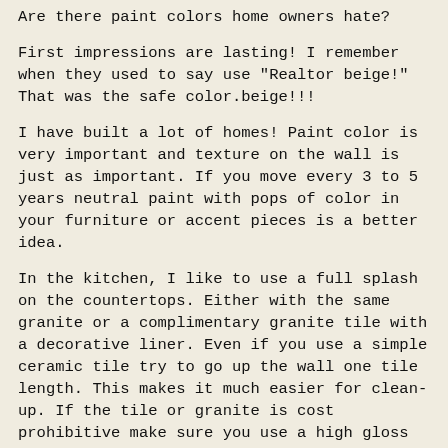Are there paint colors home owners hate?
First impressions are lasting! I remember when they used to say use "Realtor beige!" That was the safe color.beige!!!
I have built a lot of homes! Paint color is very important and texture on the wall is just as important. If you move every 3 to 5 years neutral paint with pops of color in your furniture or accent pieces is a better idea.
In the kitchen, I like to use a full splash on the countertops. Either with the same granite or a complimentary granite tile with a decorative liner. Even if you use a simple ceramic tile try to go up the wall one tile length. This makes it much easier for clean-up. If the tile or granite is cost prohibitive make sure you use a high gloss paint in the kitchen.
The bathrooms are another place for a full height tile splash in the shower or bath. Use a high gloss paint for easy clean-up in all the baths.
I have used velvet paint for the upper portion of the wall in a game room with a chair rail and wood panels so the walls